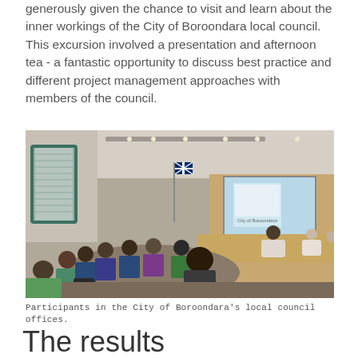generously given the chance to visit and learn about the inner workings of the City of Boroondara local council. This excursion involved a presentation and afternoon tea - a fantastic opportunity to discuss best practice and different project management approaches with members of the council.
[Figure (photo): Participants seated around a council chamber table in the City of Boroondara's local council offices, with an Australian flag and a presentation on screen at the front of the room.]
Participants in the City of Boroondara's local council offices.
The results